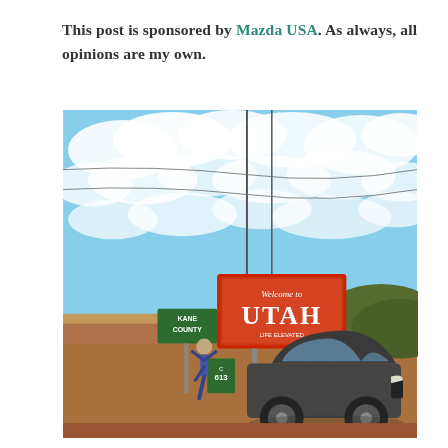This post is sponsored by Mazda USA. As always, all opinions are my own.
[Figure (photo): A dark grey Mazda sedan parked near a 'Welcome to Utah' state sign and a green Kane County road sign. A person stands in a yoga tree pose beside the signs. Blue sky with white clouds fills the upper portion of the image. Red desert landscape visible on the Utah welcome billboard.]